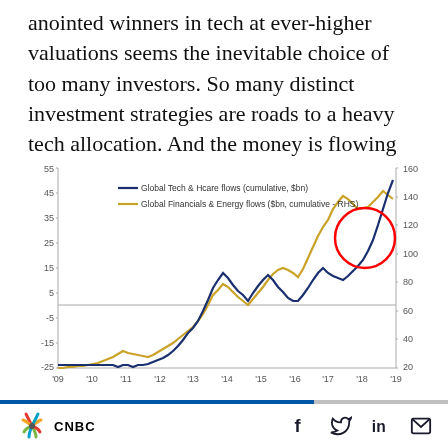anointed winners in tech at ever-higher valuations seems the inevitable choice of too many investors. So many distinct investment strategies are roads to a heavy tech allocation. And the money is flowing there in torrents.
[Figure (line-chart): ]
CNBC